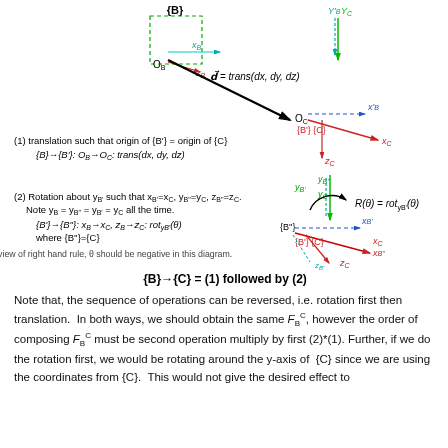[Figure (engineering-diagram): Two coordinate frame diagrams showing translation and rotation steps. Top diagram: frame {B} with origin O_B translated by vector d=trans(dx,dy,dz) to frame {C} with origin O_C. Labels show {B'}{C} at destination. Bottom diagram: rotation about y_B axis with R(theta)=rot_yB'(theta), showing frames {B''} and {B'}{C} with axes labeled. Colored axes: green for y, red for x/z, blue dashed for primed frames.]
(1) translation such that origin of {B'} = origin of {C}
{B}→{B'}: O_B→O_C: trans(dx,dy,dz)
(2) Rotation about y_B' such that x_B'=x_C, y_B''=y_C, z_B''=z_C. Note y_B = y_B'' = y_B' = y_C all the time.
{B'}→{B''}: x_B→x_C, z_B→z_C: rot_yB'(θ) where {B''}={C}
Note in view of right hand rule, θ should be negative in this diagram.
{B}→{C} = (1) followed by (2)
Note that, the sequence of operations can be reversed, i.e. rotation first then translation. In both ways, we should obtain the same F^C_B, however the order of composing F^C_B must be second operation multiply by first (2)*(1). Further, if we do the rotation first, we would be rotating around the y-axis of {C} since we are using the coordinates from {C}. This would not give the desired effect to